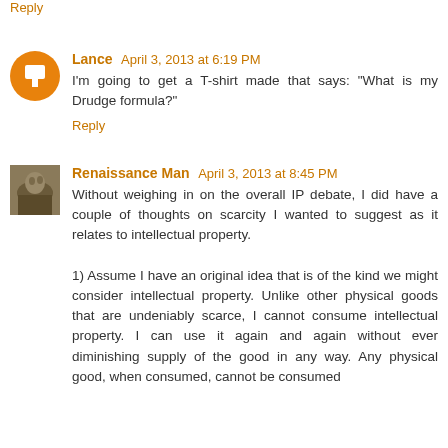Reply
Lance  April 3, 2013 at 6:19 PM
I'm going to get a T-shirt made that says: "What is my Drudge formula?"
Reply
Renaissance Man  April 3, 2013 at 8:45 PM
Without weighing in on the overall IP debate, I did have a couple of thoughts on scarcity I wanted to suggest as it relates to intellectual property.

1) Assume I have an original idea that is of the kind we might consider intellectual property. Unlike other physical goods that are undeniably scarce, I cannot consume intellectual property. I can use it again and again without ever diminishing supply of the good in any way. Any physical good, when consumed, cannot be consumed